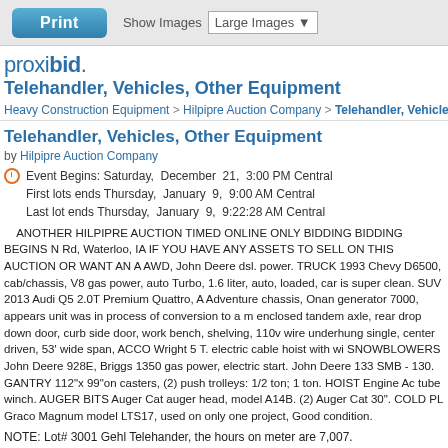Print | Show Images: Large Images
proxibid. Telehandler, Vehicles, Other Equipment
Heavy Construction Equipment > Hilpipre Auction Company > Telehandler, Vehicles, Other Equipment
Telehandler, Vehicles, Other Equipment
by Hilpipre Auction Company
Event Begins: Saturday,  December  21,  3:00 PM Central
First lots ends Thursday,  January  9,  9:00 AM Central
Last lot ends Thursday,  January  9,  9:22:28 AM Central
ANOTHER HILPIPRE AUCTION TIMED ONLINE ONLY BIDDING BIDDING BEGINS N Rd, Waterloo, IA IF YOU HAVE ANY ASSETS TO SELL ON THIS AUCTION OR WANT AN A AWD, John Deere dsl. power. TRUCK 1993 Chevy D6500, cab/chassis, V8 gas power, auto Turbo, 1.6 liter, auto, loaded, car is super clean. SUV 2013 Audi Q5 2.0T Premium Quattro, A Adventure chassis, Onan generator 7000, appears unit was in process of conversion to a m enclosed tandem axle, rear drop down door, curb side door, work bench, shelving, 110v wire underhung single, center driven, 53' wide span, ACCO Wright 5 T. electric cable hoist with wi SNOWBLOWERS John Deere 928E, Briggs 1350 gas power, electric start. John Deere 133 SMB - 130. GANTRY 112"x 99"on casters, (2) push trolleys: 1/2 ton; 1 ton. HOIST Engine Ac tube winch. AUGER BITS Auger Cat auger head, model A14B. (2) Auger Cat 30". COLD PL Graco Magnum model LTS17, used on only one project, Good condition.
NOTE: Lot# 3001 Gehl Telehander, the hours on meter are 7,007.
Please note the correction of hours on the meter for Lot#3001. The hours are 7,007.
1993 Gehl tele-handler, model 883, sn JJ117491, hrs